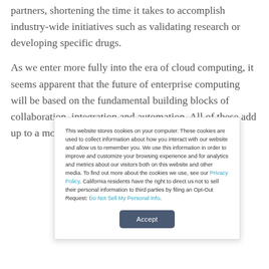partners, shortening the time it takes to accomplish industry-wide initiatives such as validating research or developing specific drugs.
As we enter more fully into the era of cloud computing, it seems apparent that the future of enterprise computing will be based on the fundamental building blocks of collaboration, integration and automation. All of these add up to a more
This website stores cookies on your computer. These cookies are used to collect information about how you interact with our website and allow us to remember you. We use this information in order to improve and customize your browsing experience and for analytics and metrics about our visitors both on this website and other media. To find out more about the cookies we use, see our Privacy Policy. California residents have the right to direct us not to sell their personal information to third parties by filing an Opt-Out Request: Do Not Sell My Personal Info.